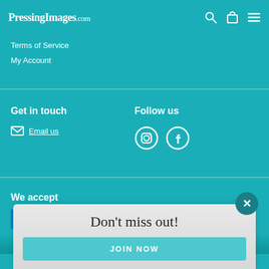PressingImages.com
Terms of Service
My Account
Get in touch
Email us
Follow us
[Figure (logo): Instagram and Facebook social media icons]
We accept
[Figure (infographic): Payment method logos: AMEX, Diners Club, Discover, Mastercard, PayPal, Visa]
Don't miss out!
JOIN NOW